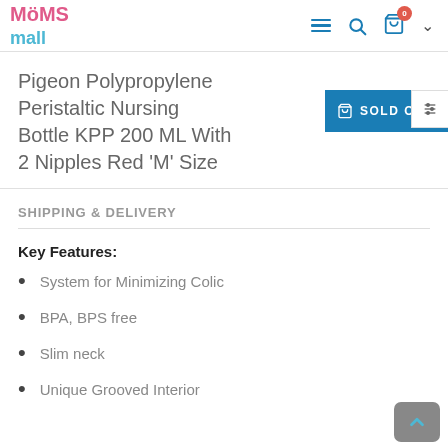Moms Mall
Pigeon Polypropylene Peristaltic Nursing Bottle KPP 200 ML With 2 Nipples Red 'M' Size
SHIPPING & DELIVERY
Key Features:
System for Minimizing Colic
BPA, BPS free
Slim neck
Unique Grooved Interior